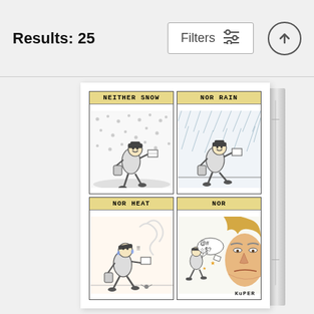Results: 25
Filters
[Figure (illustration): A four-panel comic strip by Kuper. Panel 1: 'NEITHER SNOW' - a postal worker running happily through a snowstorm carrying mail. Panel 2: 'NOR RAIN' - the same postal worker running through rain. Panel 3: 'NOR HEAT' - the postal worker running in the heat with sweat drops and heat waves. Panel 4: 'NOR' with '@#@$?' speech bubble - the postal worker being confronted by a large angry face (resembling Trump).]